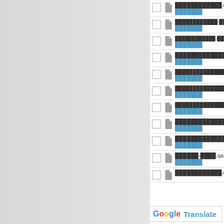□ ████████████.qar
██████
□ ████████████-████.qar
██████
□ ████████████-██████████████.qar
██████
□ ████████████████.qar
██████
□ ████████████████-████████.qar
██████
□ ████████████████-███████.qar
██████
□ ████████████████-███████.qar
██████
□ █████████████.qar
██████
□ █████████████.qar
██████
□ ██████-████.qar
██████
□ ████████████.qar
██████